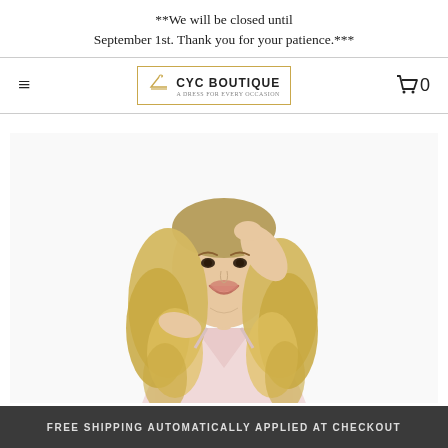**We will be closed until September 1st. Thank you for your patience.***
[Figure (logo): CYC Boutique logo with hanger icon inside a gold border box]
[Figure (photo): A blonde woman with curly hair wearing a light pink sparkly dress, posing with one hand in her hair against a white background]
FREE SHIPPING AUTOMATICALLY APPLIED AT CHECKOUT